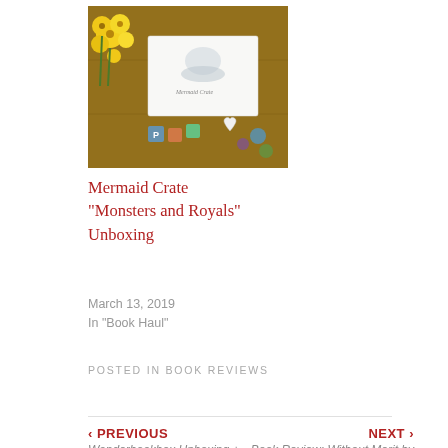[Figure (photo): Photo of Mermaid Crate box with yellow flowers, scattered letter tiles, heart decorations, and a card with illustration on a wooden surface]
Mermaid Crate “Monsters and Royals” Unboxing
March 13, 2019
In “Book Haul”
POSTED IN BOOK REVIEWS
‹ PREVIOUS
Wanderbookbox Unboxing + GIVEAWAY
NEXT ›
Book Review: Without Merit by Colleen Hoover
4 thoughts on “BH Blog Tour: Empress of